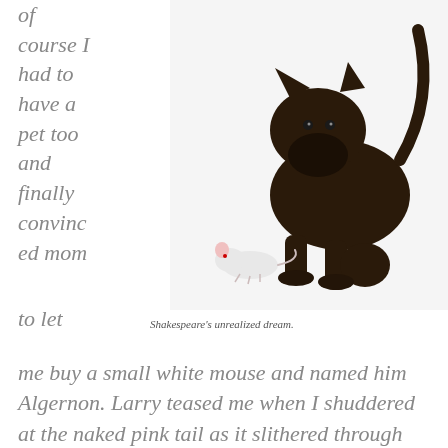of course I had to have a pet too and finally convinced mom
[Figure (photo): A dark brown/black kitten sniffing a small white mouse on a white background.]
Shakespeare's unrealized dream.
to let
me buy a small white mouse and named him Algernon. Larry teased me when I shuddered at the naked pink tail as it slithered through my fingers, but Algernon became my wee buddy and I too walked around with him